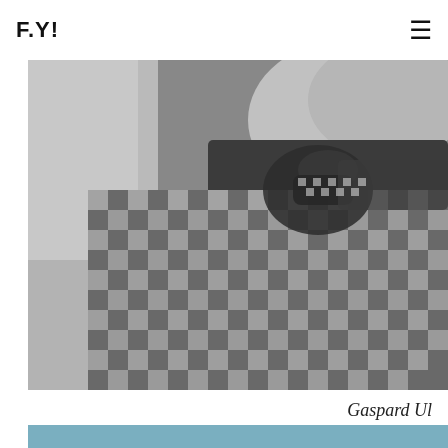F.Y! [logo] ☰ [menu]
[Figure (photo): Black and white close-up photograph of a man's neck and chest area wearing a patterned check/houndstooth shirt with a textured patterned tie or scarf knotted at the collar. An arm is visible on the left side of the frame.]
Gaspard Ul
[Figure (photo): Blue/steel-blue colored bar or image strip at the bottom of the page]